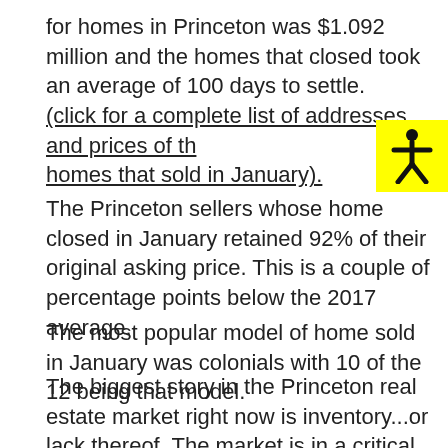for homes in Princeton was $1.092 million and the homes that closed took an average of 100 days to settle. (click for a complete list of addresses and prices of the homes that sold in January).
The Princeton sellers whose home closed in January retained 92% of their original asking price. This is a couple of percentage points below the 2017 average.
The most popular model of home sold in January was colonials with 10 of the 12 being that model.
The biggest story in the Princeton real estate market right now is inventory...or lack thereof. The market is in a critical under supply mode. Market conditions favor sellers, especially sellers of homes in the more affordable price brackets.